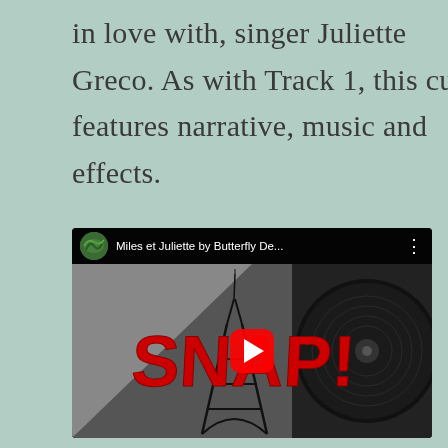in love with, singer Juliette Greco. As with Track 1, this cut features narrative, music and effects.
[Figure (screenshot): YouTube video thumbnail showing 'Miles et Juliette by Butterfly De...' with SNAP! text in red over an Eiffel Tower illustration and vinyl record, with a play button in the center.]